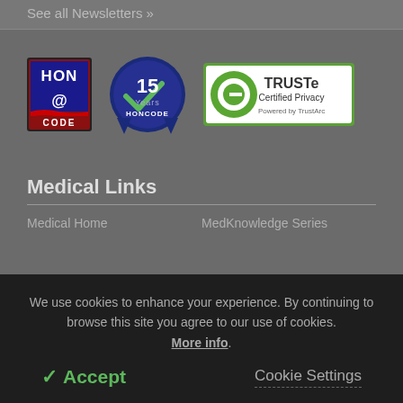See all Newsletters »
[Figure (logo): HON CODE badge - red/blue logo with '@' symbol and text HON CODE]
[Figure (logo): 15 Years HONCODE badge - blue circular badge with checkmark]
[Figure (logo): TRUSTe Certified Privacy badge - green and white with TrustArc branding]
Medical Links
Medical Home
MedKnowledge Series
We use cookies to enhance your experience. By continuing to browse this site you agree to our use of cookies. More info.
✓ Accept
Cookie Settings